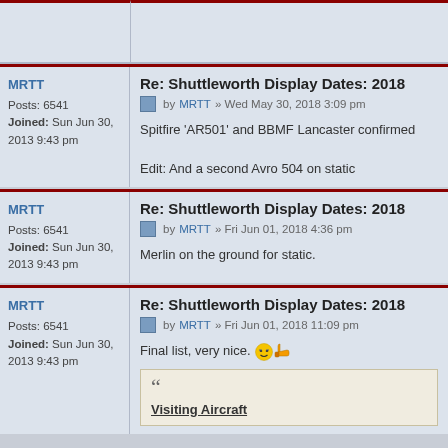MRTT | Posts: 6541 | Joined: Sun Jun 30, 2013 9:43 pm
Re: Shuttleworth Display Dates: 2018
by MRTT » Wed May 30, 2018 3:09 pm
Spitfire 'AR501' and BBMF Lancaster confirmed
Edit: And a second Avro 504 on static
MRTT | Posts: 6541 | Joined: Sun Jun 30, 2013 9:43 pm
Re: Shuttleworth Display Dates: 2018
by MRTT » Fri Jun 01, 2018 4:36 pm
Merlin on the ground for static.
MRTT | Posts: 6541 | Joined: Sun Jun 30, 2013 9:43 pm
Re: Shuttleworth Display Dates: 2018
by MRTT » Fri Jun 01, 2018 11:09 pm
Final list, very nice.
Visiting Aircraft